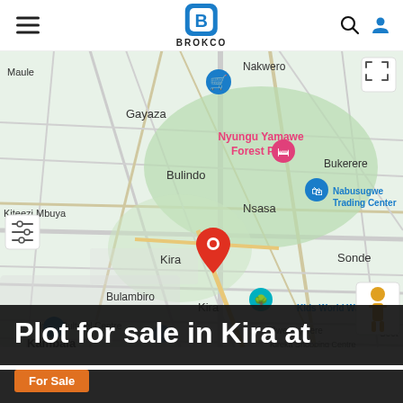BROKCO
[Figure (map): Google Maps view centered on Kira, Uganda with a red location pin dropped on Kira. Visible place names include: Maule, Nakwero, Kas (cropped), Gayaza, Nyungu Yamawe Forest Park, Bulindo, Bukerere, Nabusugwe Trading Center, Kiteezi, Mbuya, Nsasa, Kira, Sonde, Bulambiro, Kira, Kids World Water Park, Ndere Cultural Centre, Bweyogerere, Kambala (cropped), Kireka Shopping Centre (partially visible). Green areas indicate parks/vegetation. The map has UI controls: hamburger menu top-left, expand button top-right, filter sliders mid-left, street-view person bottom-right.]
Plot for sale in Kira at
For Sale